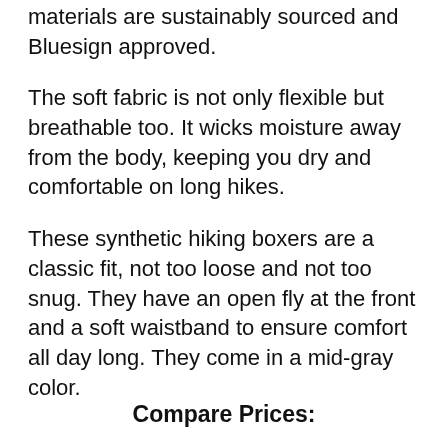materials are sustainably sourced and Bluesign approved.
The soft fabric is not only flexible but breathable too. It wicks moisture away from the body, keeping you dry and comfortable on long hikes.
These synthetic hiking boxers are a classic fit, not too loose and not too snug. They have an open fly at the front and a soft waistband to ensure comfort all day long. They come in a mid-gray color.
Compare Prices: